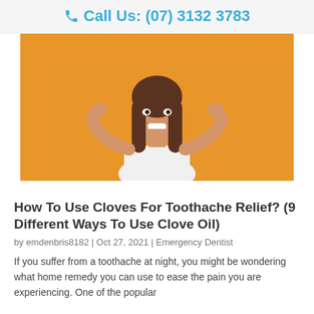Call Us: (07) 3132 3783
[Figure (photo): Young woman with long brown hair on an orange background, smiling with hands raised in a surprised/excited gesture, wearing a white top.]
How To Use Cloves For Toothache Relief? (9 Different Ways To Use Clove Oil)
by emdenbris8182 | Oct 27, 2021 | Emergency Dentist
If you suffer from a toothache at night, you might be wondering what home remedy you can use to ease the pain you are experiencing. One of the popular